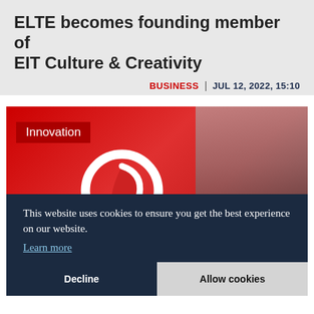ELTE becomes founding member of EIT Culture & Creativity
BUSINESS | JUL 12, 2022, 15:10
[Figure (photo): Vodafone branded display with red background and white Vodafone logo, with a robotic device in the foreground. An 'Innovation' label tag appears in the top-left corner.]
This website uses cookies to ensure you get the best experience on our website.
Learn more
Decline
Allow cookies